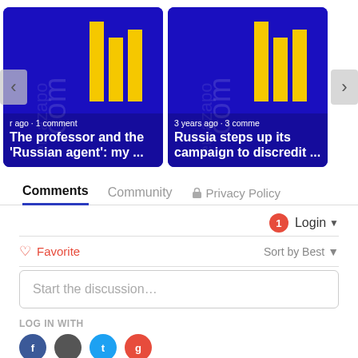[Figure (screenshot): Carousel showing two article cards with blue background (eu.azapo.com logo). Left card: 'The professor and the 'Russian agent': my ...' with metadata 'r ago · 1 comment'. Right card: 'Russia steps up its campaign to discredit ...' with metadata '3 years ago · 3 comme'. Navigation arrows on left and right.]
Comments
Community
Privacy Policy
1
Login
Favorite
Sort by Best
Start the discussion...
LOG IN WITH